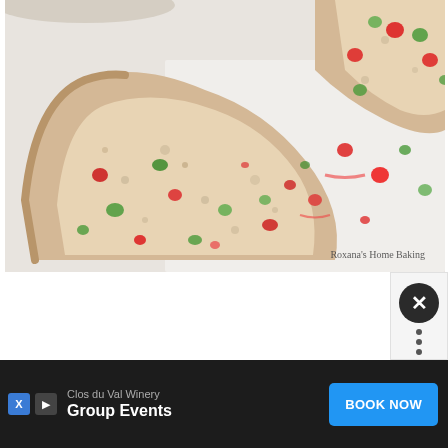[Figure (photo): Overhead photo of sliced fruitcake/holiday bread with red and green candied fruit pieces, on a white surface. A partial second slice visible in upper right. Watermark reads 'Roxana's Home Baking'.]
[Figure (other): Advertisement banner at the bottom of the page. Shows 'Clos du Val Winery' brand name with 'Group Events' headline and a blue 'BOOK NOW' button. Dark/black background. Close button (X) on the right side.]